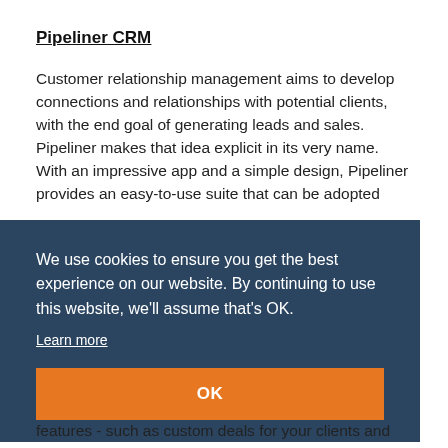Pipeliner CRM
Customer relationship management aims to develop connections and relationships with potential clients, with the end goal of generating leads and sales. Pipeliner makes that idea explicit in its very name. With an impressive app and a simple design, Pipeliner provides an easy-to-use suite that can be adopted
We use cookies to ensure you get the best experience on our website. By continuing to use this website, we'll assume that's OK.
Learn more
OK
features - such as custom deals for your clients and